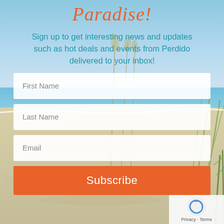Paradise!
Sign up to get interesting news and updates such as hot deals and events from Perdido delivered to your inbox!
First Name
Last Name
Email
Subscribe
Privacy · Terms